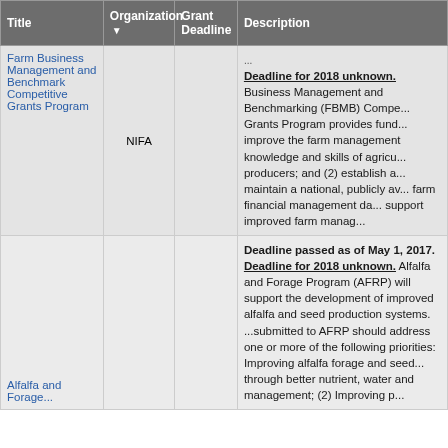| Title | Organization ▼ | Grant Deadline | Description |
| --- | --- | --- | --- |
| Farm Business Management and Benchmark Competitive Grants Program | NIFA |  | Deadline for 2018 unknown. Business Management and Benchmarking (FBMB) Competitive Grants Program provides fund... improve the farm management knowledge and skills of agricultural producers; and (2) establish and maintain a national, publicly available farm financial management data... support improved farm management... |
| Alfalfa and Forage... |  |  | Deadline passed as of May 1, 2017. Deadline for 2018 unknown. Alfalfa and Forage Program (AFRP) will support the development of improved alfalfa and seed production systems. ...submitted to AFRP should address one or more of the following priorities: Improving alfalfa forage and seed... through better nutrient, water and management; (2) Improving p... |